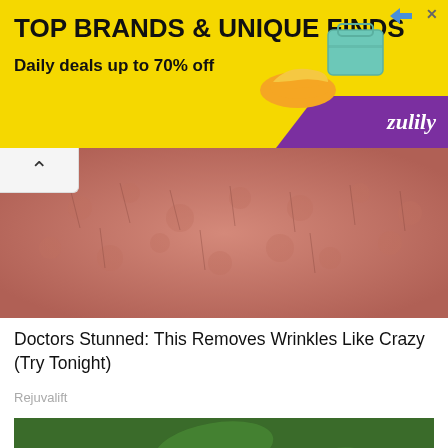[Figure (photo): Advertisement banner for Zulily: yellow background with text 'TOP BRANDS & UNIQUE FINDS' and 'Daily deals up to 70% off', purple stripe with Zulily logo, shoes and bag images]
[Figure (photo): Close-up photo of skin texture, pinkish-red rough skin surface with hair follicles visible]
Doctors Stunned: This Removes Wrinkles Like Crazy (Try Tonight)
Rejuvalift
[Figure (photo): Photo of a hand holding an open aloe vera leaf showing gel inside, with green foliage background]